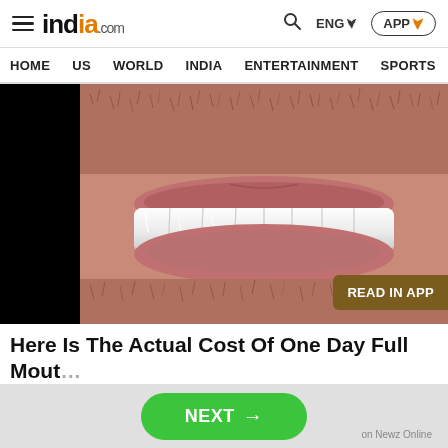india.com | HOME  US  WORLD  INDIA  ENTERTAINMENT  SPORTS  PHO
[Figure (photo): Close-up photo of a man's smiling mouth showing full teeth with dental implants, stubble visible on lips and chin, black background on left side]
Here Is The Actual Cost Of One Day Full Mouth Dental Implants
Dental Implants | Sponsored
[Figure (screenshot): Green NEXT button with arrow, bottom ad bar with 'on Newz Online' label]